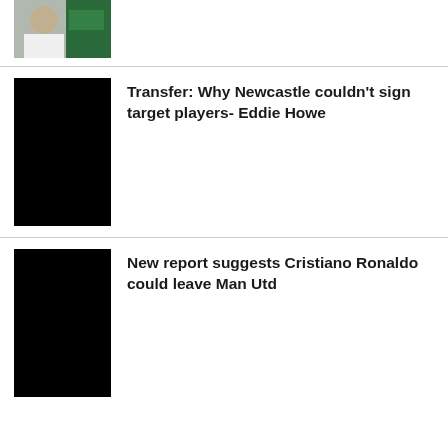[Figure (photo): Sports/athlete photo thumbnail at top]
[Figure (photo): Black placeholder image for Newcastle article]
Transfer: Why Newcastle couldn't sign target players- Eddie Howe
[Figure (photo): Black placeholder image for Cristiano Ronaldo article]
New report suggests Cristiano Ronaldo could leave Man Utd
[Figure (photo): Photo of armed bandits/worshippers for Zamfara article]
Bandits abduct worshippers from Zamfara mosque
[Figure (photo): Photo of Sowore for INEC article]
Sowore claims INEC allocated 33,000